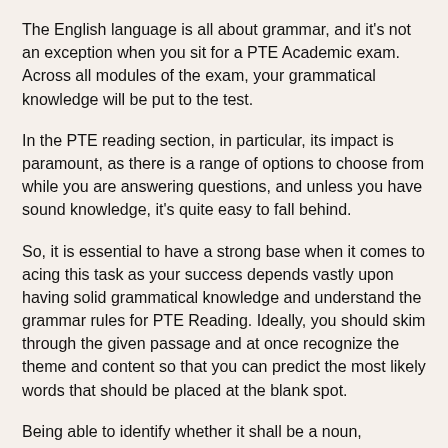The English language is all about grammar, and it's not an exception when you sit for a PTE Academic exam. Across all modules of the exam, your grammatical knowledge will be put to the test.
In the PTE reading section, in particular, its impact is paramount, as there is a range of options to choose from while you are answering questions, and unless you have sound knowledge, it's quite easy to fall behind.
So, it is essential to have a strong base when it comes to acing this task as your success depends vastly upon having solid grammatical knowledge and understand the grammar rules for PTE Reading. Ideally, you should skim through the given passage and at once recognize the theme and content so that you can predict the most likely words that should be placed at the blank spot.
Being able to identify whether it shall be a noun, pronoun, verb, adverb, or adjective along with the tense of the sentences shall be the crucial factors to decide the right answers.